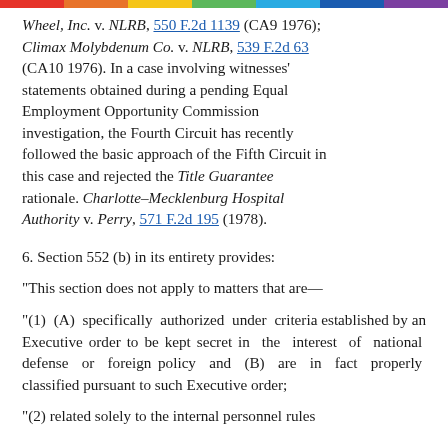Wheel, Inc. v. NLRB, 550 F.2d 1139 (CA9 1976); Climax Molybdenum Co. v. NLRB, 539 F.2d 63 (CA10 1976). In a case involving witnesses' statements obtained during a pending Equal Employment Opportunity Commission investigation, the Fourth Circuit has recently followed the basic approach of the Fifth Circuit in this case and rejected the Title Guarantee rationale. Charlotte–Mecklenburg Hospital Authority v. Perry, 571 F.2d 195 (1978).
6. Section 552 (b) in its entirety provides:
"This section does not apply to matters that are—
"(1) (A) specifically authorized under criteria established by an Executive order to be kept secret in the interest of national defense or foreign policy and (B) are in fact properly classified pursuant to such Executive order;
"(2) related solely to the internal personnel rules